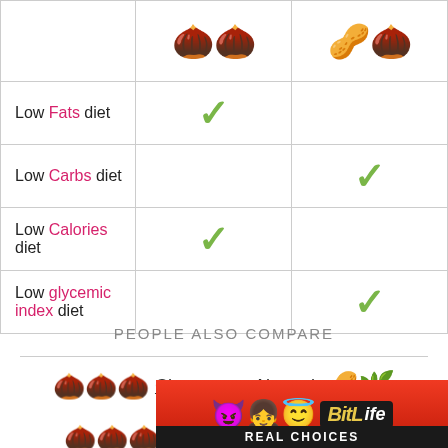|  | Chestnut (emoji) | Brazil nut (emoji) |
| --- | --- | --- |
| Low Fats diet | ✓ |  |
| Low Carbs diet |  | ✓ |
| Low Calories diet | ✓ |  |
| Low glycemic index diet |  | ✓ |
PEOPLE ALSO COMPARE
🌰 Chestnut vs Almond 🌰
🌰 Chestnut vs Brazil nut 🌰